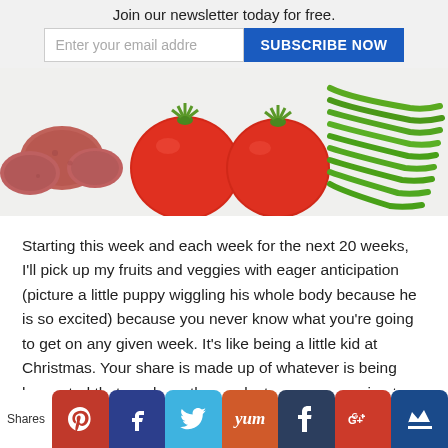Join our newsletter today for free.
Enter your email addre  SUBSCRIBE NOW
[Figure (photo): Overhead photo of fresh vegetables on white background: red potatoes, large red tomatoes, and green beans arranged in a row]
Starting this week and each week for the next 20 weeks, I'll pick up my fruits and veggies with eager anticipation (picture a little puppy wiggling his whole body because he is so excited) because you never know what you're going to get on any given week. It's like being a little kid at Christmas. Your share is made up of whatever is being harvested that week, so the weeks to come are going to be an adventure as I try
Shares